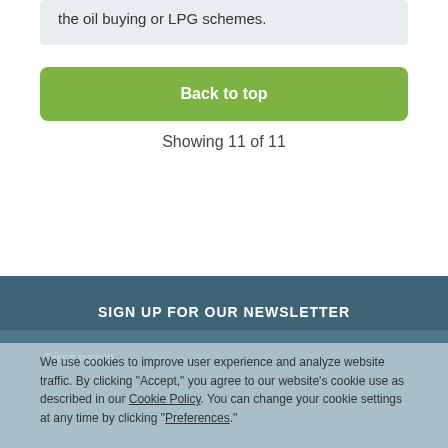the oil buying or LPG schemes.
Back to top
Showing 11 of 11
SIGN UP FOR OUR NEWSLETTER
First name
We use cookies to improve user experience and analyze website traffic. By clicking "Accept," you agree to our website's cookie use as described in our Cookie Policy. You can change your cookie settings at any time by clicking "Preferences."